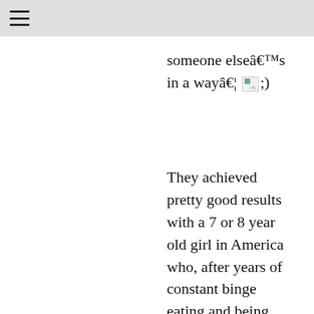☰
someone else's in a way… 🖼;)
They achieved pretty good results with a 7 or 8 year old girl in America who, after years of constant binge eating and being hugely over weight, reached something like